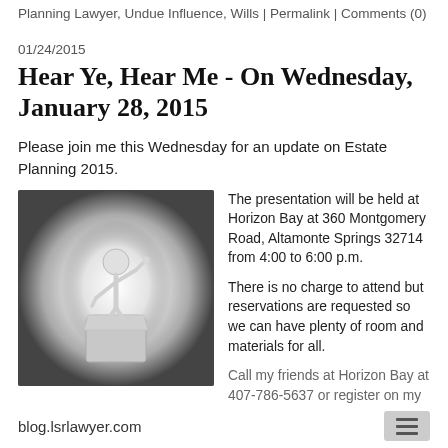Planning Lawyer, Undue Influence, Wills | Permalink | Comments (0)
01/24/2015
Hear Ye, Hear Me - On Wednesday, January 28, 2015
Please join me this Wednesday for an update on Estate Planning 2015.
[Figure (illustration): 3D white stick figure standing at a podium/lectern, spotlight effect, dark vignette background]
The presentation will be held at Horizon Bay at 360 Montgomery Road, Altamonte Springs 32714 from 4:00 to 6:00 p.m.

There is no charge to attend but reservations are requested so we can have plenty of room and materials for all.

Call my friends at Horizon Bay at 407-786-5637 or register on my website.
blog.lsrlawyer.com